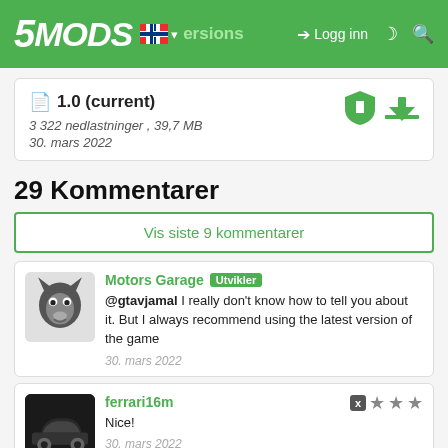5MODS | Logg inn
1.0 (current)
3 322 nedlastninger , 39,7 MB
30. mars 2022
29 Kommentarer
Vis siste 9 kommentarer
Motors Garage [Utvikler]
@gtavjamal I really don't know how to tell you about it. But I always recommend using the latest version of the game
30. mars 2022
ferrari16m
Nice!
30. mars 2022